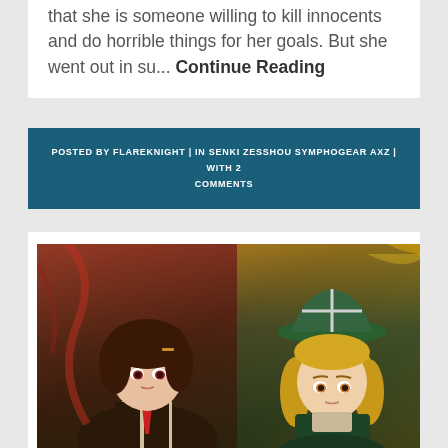that she is someone willing to kill innocents and do horrible things for her goals. But she went out in su... Continue Reading
POSTED BY FLAREKNIGHT | IN SENKI ZESSHOU SYMPHOGEAR AXZ | WITH 2 COMMENTS
[Figure (illustration): Anime screenshot showing two characters: one with dark brown hair wearing a red necktie and dark outfit on the left, and another with blonde hair wearing a green hat on the right. Scene appears to be action-oriented.]